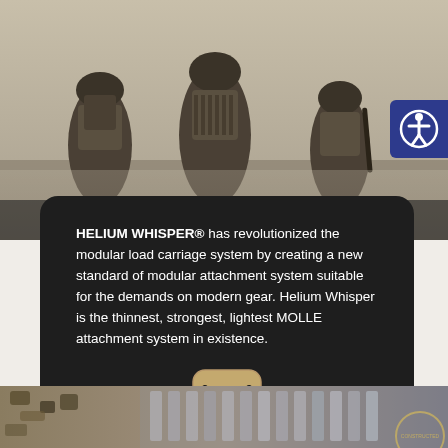[Figure (photo): Three military soldiers viewed from behind, wearing tactical gear, helmets, and body armor, in sepia/grayscale tone]
[Figure (logo): Accessibility button icon in blue square]
HELIUM WHISPER® has revolutionized the modular load carriage system by creating a new standard of modular attachment system suitable for the demands on modern gear. Helium Whisper is the thinnest, strongest, lightest MOLLE attachment system in existence.
[Figure (logo): Helium Whisper W logo in tan/brown rounded square]
[Figure (photo): Close-up of MOLLE attachment system with camouflage pattern webbing]